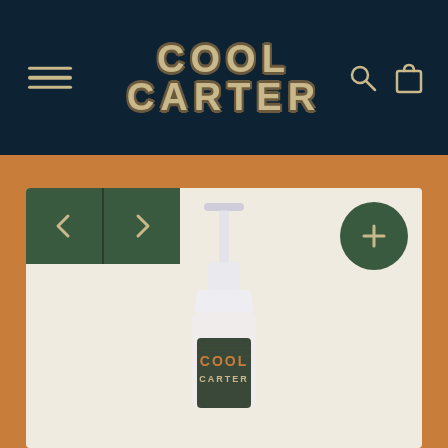[Figure (logo): Cool Carter brand logo in retro style with tan/gold letters on dark navy background, with hamburger menu icon on left and search/bag icons on right]
[Figure (photo): Cool Carter product bottle (pump dispenser) photographed against a light background, shown from above the label upward, with navigation prev/next arrow buttons at top-left and a plus button at top-right. The label shows 'COOL CARTER' text in orange and tan on dark green background.]